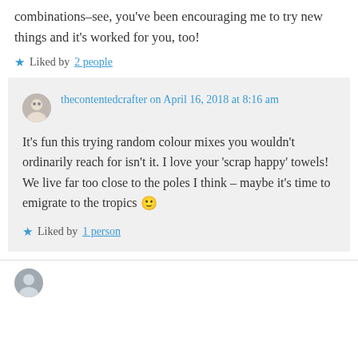combinations–see, you've been encouraging me to try new things and it's worked for you, too!
★ Liked by 2 people
thecontentedcrafter on April 16, 2018 at 8:16 am
It's fun this trying random colour mixes you wouldn't ordinarily reach for isn't it. I love your 'scrap happy' towels! We live far too close to the poles I think – maybe it's time to emigrate to the tropics 🙂
★ Liked by 1 person